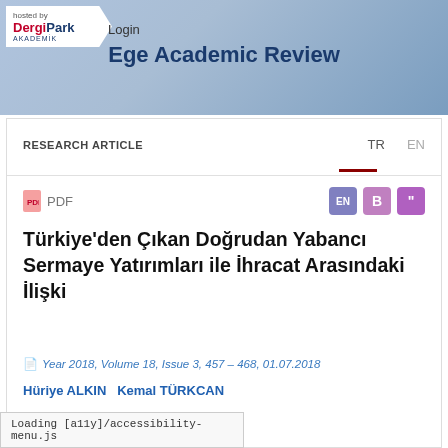[Figure (screenshot): DergiPark Akademik hosted-by badge with red DergiPark logo and Login link]
Ege Academic Review
RESEARCH ARTICLE
TR  EN
[Figure (other): PDF icon and action buttons: EN, B, citation]
Türkiye'den Çıkan Doğrudan Yabancı Sermaye Yatırımları ile İhracat Arasındaki İlişki
Year 2018, Volume 18, Issue 3, 457 – 468, 01.07.2018
Hüriye ALKIN  Kemal TÜRKCAN
Loading [a11y]/accessibility-menu.js